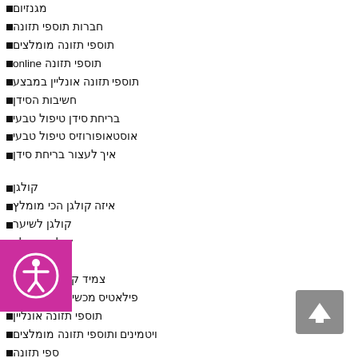מגנזיום
חברות תוספי תזונה
תוספי תזונה מומלצים
תוספי תזונה online
תוספי תזונה אונליין במבצע
חשיבות הסידן
בריחת סידן טיפול טבעי
אוסטאופורוזיס טיפול טבעי
איך לעצור בריחת סידן
קולגן
איזה קולגן הכי מומלץ
קולגן לשיער
קולגן מומלץ
קולגן לגוף
צמיד קולגן- קולגנה
פילאטיס מכשירים שירז כהן
תוספי תזונה אונליין
ויטמינים ותוספי תזונה מומלצים
ספי תזונה
חברות ויטמינים מומלצות
תוספי תזונה לעצמות